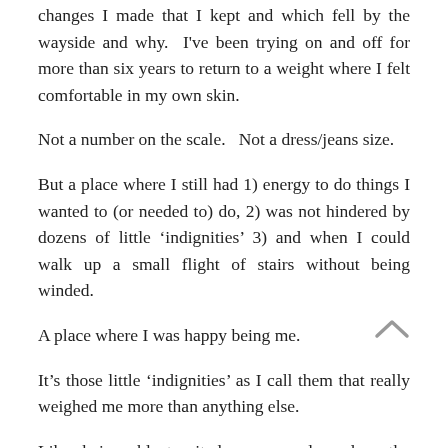changes I made that I kept and which fell by the wayside and why.  I've been trying on and off for more than six years to return to a weight where I felt comfortable in my own skin.
Not a number on the scale.   Not a dress/jeans size.
But a place where I still had 1) energy to do things I wanted to (or needed to) do, 2) was not hindered by dozens of little 'indignities' 3) and when I could walk up a small flight of stairs without being winded.
A place where I was happy being me.
It's those little 'indignities' as I call them that really weighed me more than anything else.
Like, being able to sit down, cross legged on the ground for a family picnic and not have to have help up.  Or crawl, like a toddler, with my fat ass in the air, to a place where I